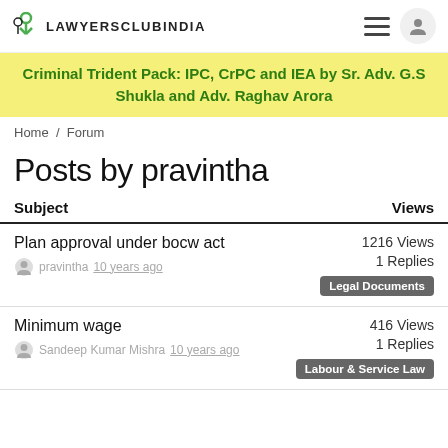LAWYERSCLUBINDIA
[Figure (infographic): Yellow banner advertisement: Criminal Trident Pack: IPC, CrPC and IEA by Sr. Adv. G.S Shukla and Adv. Raghav Arora]
Home / Forum
Posts by pravintha
| Subject | Views |
| --- | --- |
| Plan approval under bocw act
pravintha 10 years ago | 1216 Views
1 Replies
Legal Documents |
| Minimum wage
Sandeep Kumar Mishra 10 years ago | 416 Views
1 Replies
Labour & Service Law |